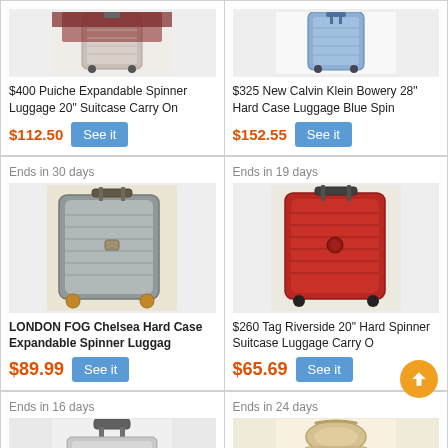[Figure (photo): Partial view of dark red/maroon luggage suitcase on white background - top card left]
$400 Puiche Expandable Spinner Luggage 20" Suitcase Carry On
$112.50  See it
[Figure (photo): Partial view of blue hard case spinner suitcase - top card right]
$325 New Calvin Klein Bowery 28" Hard Case Luggage Blue Spin
$152.55  See it
Ends in 30 days
[Figure (photo): Silver/grey hard case expandable spinner luggage on white background]
LONDON FOG Chelsea Hard Case Expandable Spinner Luggag
$89.99  See it
Ends in 19 days
[Figure (photo): Red hard spinner suitcase luggage on white background]
$260 Tag Riverside 20" Hard Spinner Suitcase Luggage Carry O
$65.69  See it
Ends in 16 days
[Figure (photo): Partial view of white/cream hard case luggage - bottom left]
Ends in 24 days
[Figure (photo): Partial view of beige/gold soft luggage - bottom right]